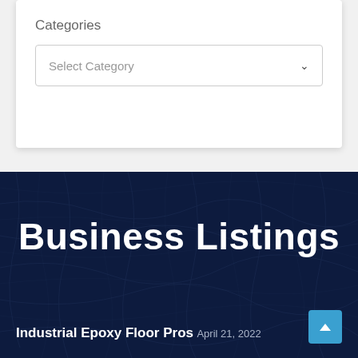Categories
Select Category
Business Listings
Industrial Epoxy Floor Pros
April 21, 2022